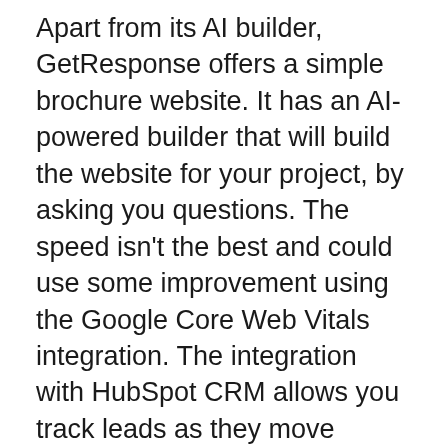Apart from its AI builder, GetResponse offers a simple brochure website. It has an AI-powered builder that will build the website for your project, by asking you questions. The speed isn't the best and could use some improvement using the Google Core Web Vitals integration. The integration with HubSpot CRM allows you track leads as they move through the pipeline.
Before you purchase, be sure you read the limitations of the platform. Certain platforms restrict the number of actions you can perform every month. Some platforms have limits on the amount of actions you can take each month. Consider the number of contacts you'll be sending emails to, and how many emails you'll send out on average.